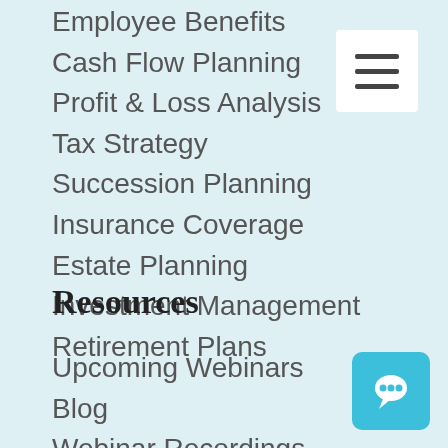Employee Benefits
Cash Flow Planning
Profit & Loss Analysis
Tax Strategy
Succession Planning
Insurance Coverage
Estate Planning
Investment Management
Retirement Plans
[Figure (other): Hamburger menu button (three horizontal lines) in white square]
Resources
Upcoming Webinars
Blog
Webinar Recordings
FAQ
Employer Partners
[Figure (other): Chat button with speech bubble icon in teal/blue square]